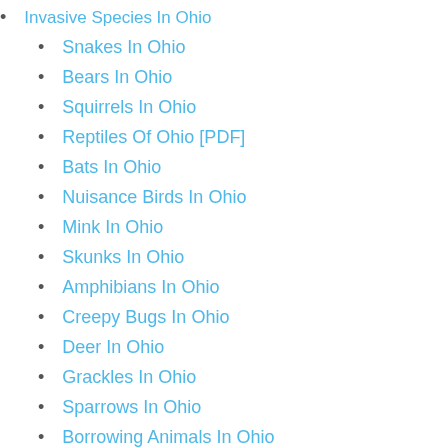Invasive Species In Ohio
Snakes In Ohio
Bears In Ohio
Squirrels In Ohio
Reptiles Of Ohio [PDF]
Bats In Ohio
Nuisance Birds In Ohio
Mink In Ohio
Skunks In Ohio
Amphibians In Ohio
Creepy Bugs In Ohio
Deer In Ohio
Grackles In Ohio
Sparrows In Ohio
Borrowing Animals In Ohio
Muskrat In Ohio
Chipmunks In Ohio
Rats In Ohio